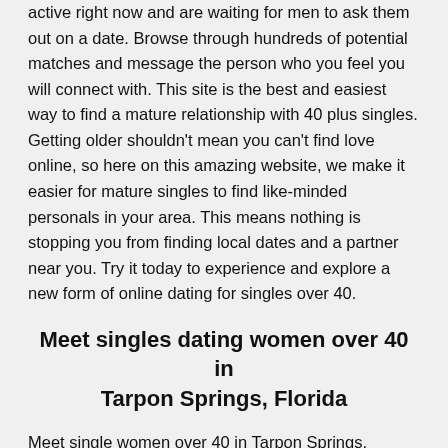active right now and are waiting for men to ask them out on a date. Browse through hundreds of potential matches and message the person who you feel you will connect with. This site is the best and easiest way to find a mature relationship with 40 plus singles. Getting older shouldn't mean you can't find love online, so here on this amazing website, we make it easier for mature singles to find like-minded personals in your area. This means nothing is stopping you from finding local dates and a partner near you. Try it today to experience and explore a new form of online dating for singles over 40.
Meet singles dating women over 40 in Tarpon Springs, Florida
Meet single women over 40 in Tarpon Springs, Florida today for awesome mature dating. This is your chance to find love and a relationship. These girls are looking for men over 40 who can show them a good time. Join today and rise to the challenge. Find love online with older dating in your area. This is your moment to change your life and no longer feel alone, with a partner you can feel complete alongside. Mature singles near you love being online